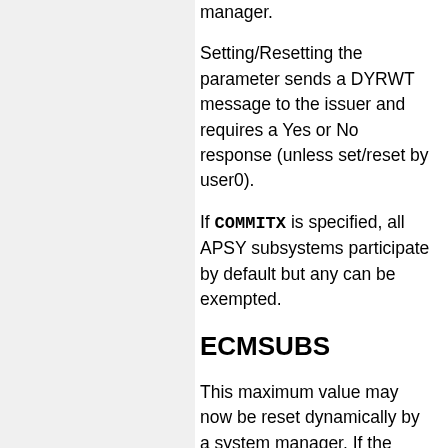manager.
Setting/Resetting the parameter sends a DYRWT message to the issuer and requires a Yes or No response (unless set/reset by user0).
If COMMITX is specified, all APSY subsystems participate by default but any can be exempted.
ECMSUBS
This maximum value may now be reset dynamically by a system manager. If the value is raised, new tasks will be added as needed up to the value specified. If the value is lowered, idle subtasks will be detached before they are activated until the new maximum is established.